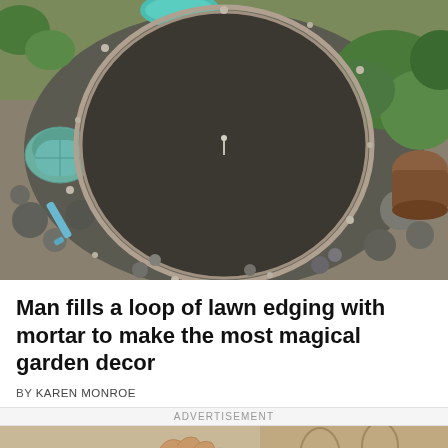[Figure (photo): Aerial view of a circular loop of lawn edging filled with dark mortar/gravel, surrounded by decorative stones, pebbles, green plants, and garden decor items including a teal bowl and colorful stones.]
Man fills a loop of lawn edging with mortar to make the most magical garden decor
BY KAREN MONROE
ADVERTISEMENT
[Figure (photo): Close-up photo of a hand pressing or smoothing material, with rolls of tape and craft supplies visible on a textured surface with a decorative patterned fabric in the background.]